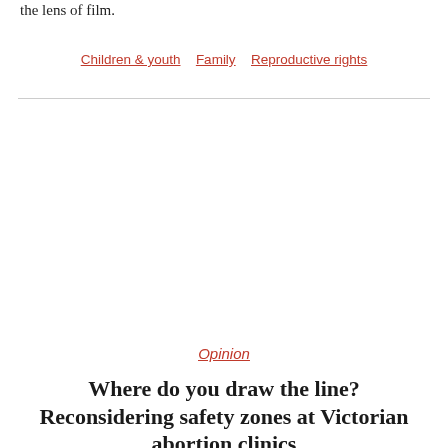the lens of film.
Children & youth   Family   Reproductive rights
Opinion
Where do you draw the line? Reconsidering safety zones at Victorian abortion clinics